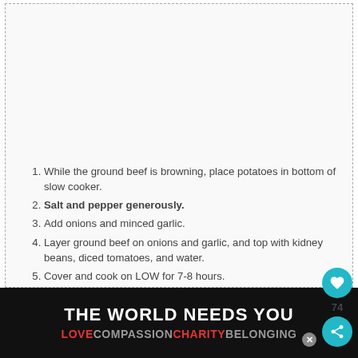While the ground beef is browning, place potatoes in bottom of slow cooker.
Salt and pepper generously.
Add onions and minced garlic.
Layer ground beef on onions and garlic, and top with kidney beans, diced tomatoes, and water.
Cover and cook on LOW for 7-8 hours.
When there is about 15 minutes of cook time left, sprinkle cheese on top of dish and cover again until cheese is melted.
[Figure (screenshot): Advertisement banner: THE WORLD NEEDS YOU with rainbow colored subtext LOVE COMPASSION CHARITY BELONGING on black background]